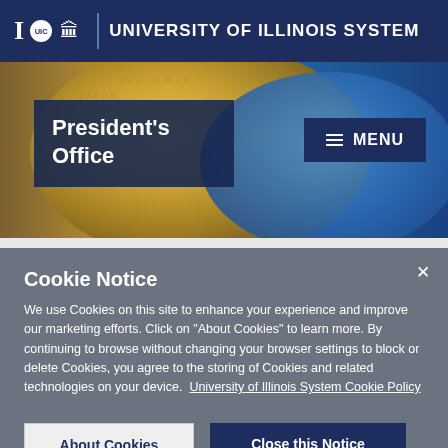University of Illinois System
President's Office
Cookie Notice
We use Cookies on this site to enhance your experience and improve our marketing efforts. Click on "About Cookies" to learn more. By continuing to browse without changing your browser settings to block or delete Cookies, you agree to the storing of Cookies and related technologies on your device. University of Illinois System Cookie Policy
About Cookies
Close this Notice